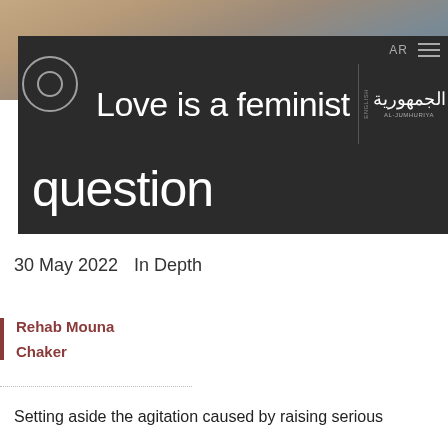[Figure (photo): Background photo of a person, muted warm and grey tones, partially visible at top of page behind dark banner overlay]
Love is a feminist question
30 May 2022   In Depth
Rehab Mouna
Chaker
Setting aside the agitation caused by raising serious